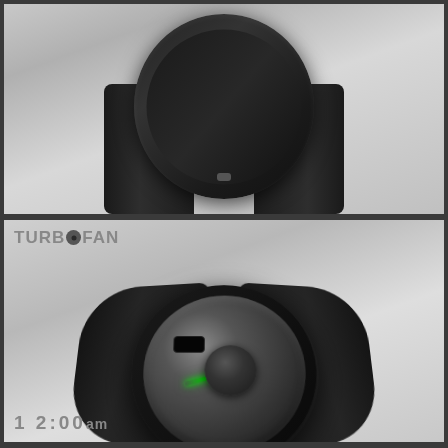[Figure (photo): Top-down view of a black minimalist round watch with black strap, shown against a light gray background]
[Figure (photo): Perspective view of the TurboFan concept watch showing a silver turbine-like dial with a green laser indicator, black rubber strap, on light gray background. Logo 'TurboFan' in top left corner and '12:00am' at bottom left.]